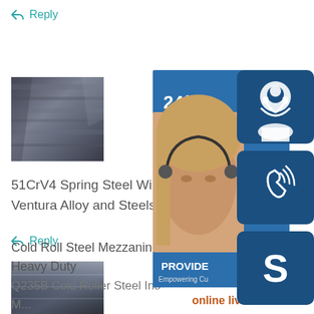↩ Reply
[Figure (photo): Steel plate product image - dark metallic surface]
51CrV4 Spring Steel Wire Rod, Round B
Ventura Alloy and Steels Supplies and S
↩ Reply
[Figure (photo): Customer service representative banner with 24/7 text, phone and Skype icons, and online live button]
[Figure (photo): Shiny rolled steel sheet product image]
Cold Roll Steel Mezzanine Floor Boards , Heavy Duty
Q235B Cold Roller Steel Industrial Platform M...